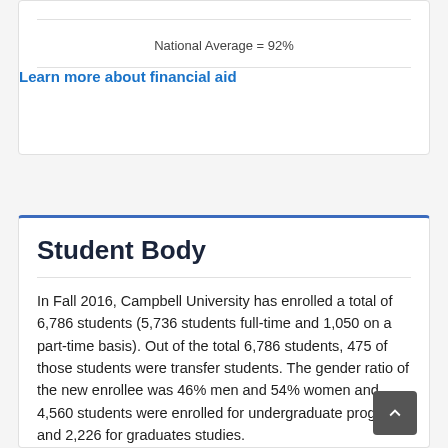National Average = 92%
Learn more about financial aid
Student Body
In Fall 2016, Campbell University has enrolled a total of 6,786 students (5,736 students full-time and 1,050 on a part-time basis). Out of the total 6,786 students, 475 of those students were transfer students. The gender ratio of the new enrollee was 46% men and 54% women and 4,560 students were enrolled for undergraduate programs and 2,226 for graduates studies.